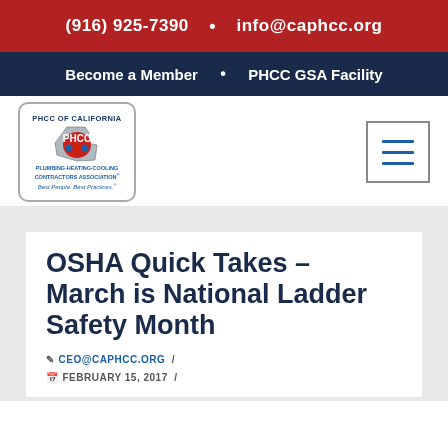(916) 925-7390 • info@caphcc.org
Become a Member • PHCC GSA Facility
[Figure (logo): PHCC of California logo with California state silhouette, PHCC shield emblem, text: PLUMBING-HEATING-COOLING CONTRACTORS ASSOCIATION, Best People. Best Practices.]
OSHA Quick Takes – March is National Ladder Safety Month
CEO@CAPHCC.ORG / FEBRUARY 15, 2017 /